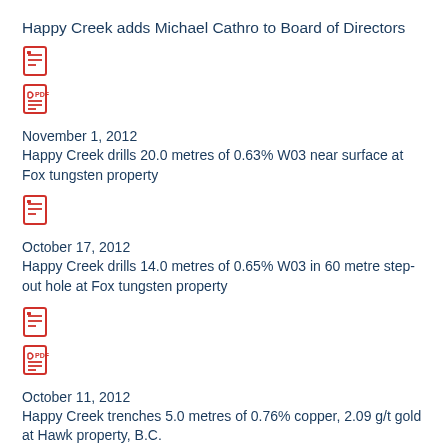Happy Creek adds Michael Cathro to Board of Directors
[Figure (illustration): Two document icons (text file and PDF file) in red]
November 1, 2012
Happy Creek drills 20.0 metres of 0.63% W03 near surface at Fox tungsten property
[Figure (illustration): One document icon (text file) in red]
October 17, 2012
Happy Creek drills 14.0 metres of 0.65% W03 in 60 metre step-out hole at Fox tungsten property
[Figure (illustration): Two document icons (text file and PDF file) in red]
October 11, 2012
Happy Creek trenches 5.0 metres of 0.76% copper, 2.09 g/t gold at Hawk property, B.C.